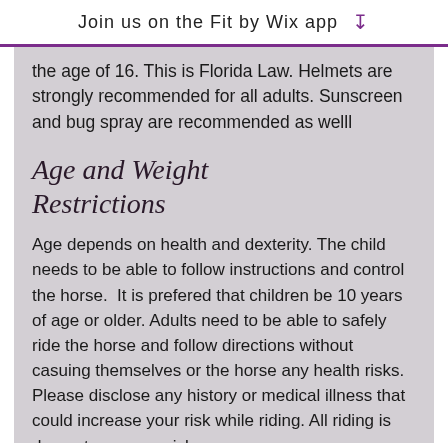Join us on the Fit by Wix app ⬇
the age of 16. This is Florida Law. Helmets are strongly recommended for all adults. Sunscreen and bug spray are recommended as welll
Age and Weight Restrictions
Age depends on health and dexterity. The child needs to be able to follow instructions and control the horse.  It is prefered that children be 10 years of age or older. Adults need to be able to safely ride the horse and follow directions without casuing themselves or the horse any health risks. Please disclose any history or medical illness that could increase your risk while riding. All riding is done at your own risk